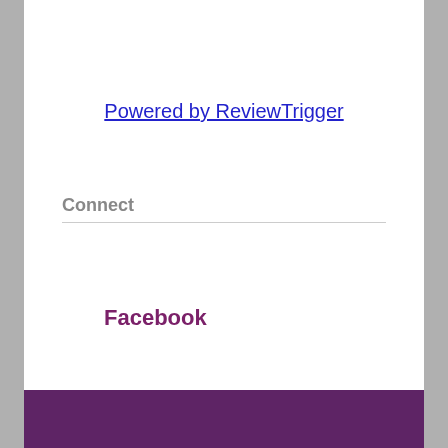Powered by ReviewTrigger
Connect
Facebook